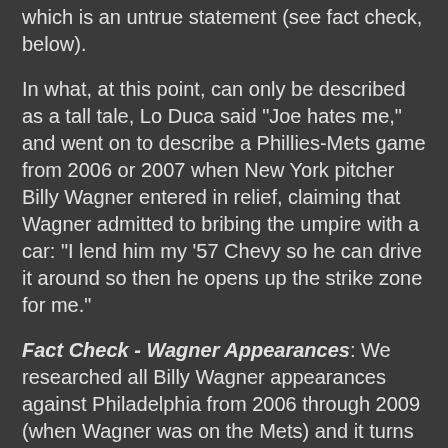which is an untrue statement (see fact check, below).
In what, at this point, can only be described as a tall tale, Lo Duca said "Joe hates me," and went on to describe a Phillies-Mets game from 2006 or 2007 when New York pitcher Billy Wagner entered in relief, claiming that Wagner admitted to bribing the umpire with a car: "I lend him my '57 Chevy so he can drive it around so then he opens up the strike zone for me."
Fact Check - Wagner Appearances: We researched all Billy Wagner appearances against Philadelphia from 2006 through 2009 (when Wagner was on the Mets) and it turns out that Joe West was never his plate umpire. The one game Joe appeared in with Wagner on the mound was an August 30, 2007 game in Philadelphia, and West was the second base umpire; Ed Hickox had the plate.
Fact Check - Lo Duca Ejections: Lo Duca was ejected eight times during his 11-year MLB career. West ejected him once in 2003—and that's it. West never ejected Lo Duca before a game started, which is another event Lo Duca